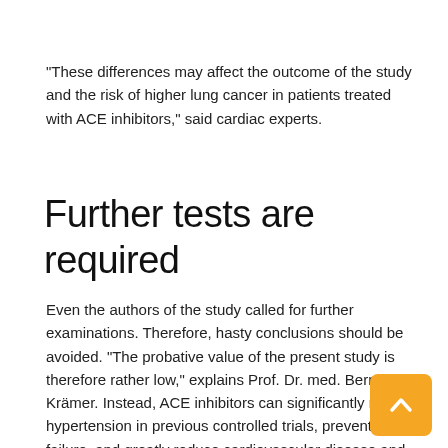"These differences may affect the outcome of the study and the risk of higher lung cancer in patients treated with ACE inhibitors," said cardiac experts.
Further tests are required
Even the authors of the study called for further examinations. Therefore, hasty conclusions should be avoided. "The probative value of the present study is therefore rather low," explains Prof. Dr. med. Bernhard Krämer. Instead, ACE inhibitors can significantly reduce hypertension in previous controlled trials, prevent heart failure, and greatly reduce cardiovascular disease and mitigation.